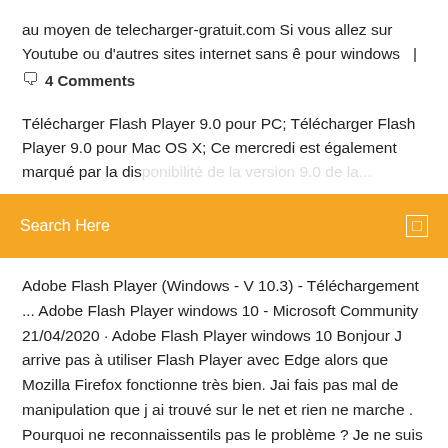au moyen de telecharger-gratuit.com Si vous allez sur Youtube ou d'autres sites internet sans ê pour windows  |
🗨  4 Comments
Télécharger Flash Player 9.0 pour PC; Télécharger Flash Player 9.0 pour Mac OS X; Ce mercredi est également marqué par la disponibilité de la version 9.0 de la...
[Figure (other): Orange search bar with text 'Search Here' and a small search icon on the right]
Adobe Flash Player (Windows - V 10.3) - Téléchargement ... Adobe Flash Player windows 10 - Microsoft Community 21/04/2020 · Adobe Flash Player windows 10 Bonjour J arrive pas à utiliser Flash Player avec Edge alors que Mozilla Firefox fonctionne très bien. Jai fais pas mal de manipulation que j ai trouvé sur le net et rien ne marche . Pourquoi ne reconnaissentils pas le problème ? Je ne suis pas le seul a avoir ce problème. Merci de votre aide. Ce fil de discussion est verrouillé. Vous pouvez suivre la Télécharger Adobe Flash Player 32.0.0.344 pour